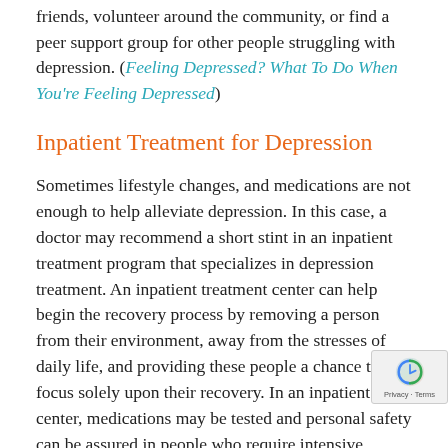friends, volunteer around the community, or find a peer support group for other people struggling with depression. (Feeling Depressed? What To Do When You're Feeling Depressed)
Inpatient Treatment for Depression
Sometimes lifestyle changes, and medications are not enough to help alleviate depression. In this case, a doctor may recommend a short stint in an inpatient treatment program that specializes in depression treatment. An inpatient treatment center can help begin the recovery process by removing a person from their environment, away from the stresses of daily life, and providing these people a chance to focus solely upon their recovery. In an inpatient center, medications may be tested and personal safety can be assured in people who require intensive treatment for major depression. It will also allow these individuals to live in a calm, compassionate, warm atmosphere to begin tackling some of the most delicate